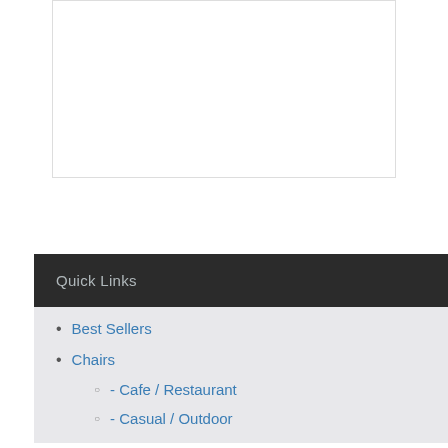[Figure (other): White rectangular box area at top of page]
Quick Links
Best Sellers
Chairs
- Cafe / Restaurant
- Casual / Outdoor